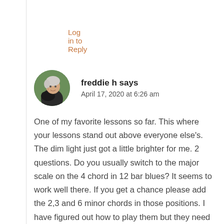Log in to Reply
[Figure (photo): Circular avatar photo of freddie h, an older person with white/gray hair holding or near a dark-colored dog, outdoors with green background]
freddie h says
April 17, 2020 at 6:26 am
One of my favorite lessons so far. This where your lessons stand out above everyone else's. The dim light just got a little brighter for me. 2 questions. Do you usually switch to the major scale on the 4 chord in 12 bar blues? It seems to work well there. If you get a chance please add the 2,3 and 6 minor chords in those positions. I have figured out how to play them but they need more review... Also the